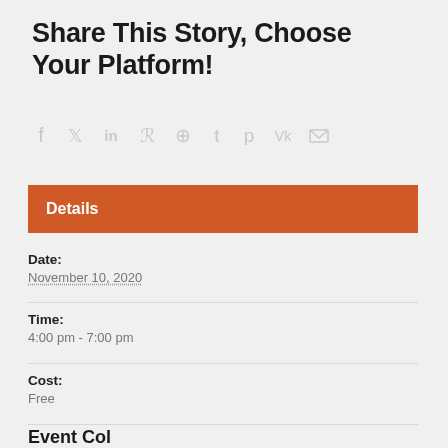Share This Story, Choose Your Platform!
[Figure (infographic): Row of social media sharing icons: Facebook, Twitter, LinkedIn, Reddit, WhatsApp, Tumblr, Pinterest, VK, Email — all displayed in light gray]
Details
Date:
November 10, 2020
Time:
4:00 pm - 7:00 pm
Cost:
Free
Event Col…